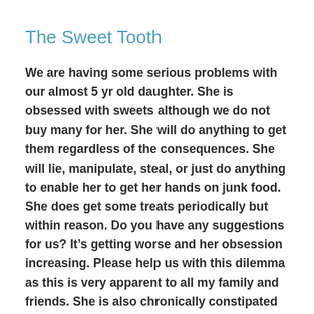The Sweet Tooth
We are having some serious problems with our almost 5 yr old daughter. She is obsessed with sweets although we do not buy many for her. She will do anything to get them regardless of the consequences. She will lie, manipulate, steal, or just do anything to enable her to get her hands on junk food. She does get some treats periodically but within reason. Do you have any suggestions for us? It’s getting worse and her obsession increasing. Please help us with this dilemma as this is very apparent to all my family and friends. She is also chronically constipated so it’s a real concern.
It’s natural for many children to have a “sweet tooth.” Children’s stomachs are smaller than those of adults, and